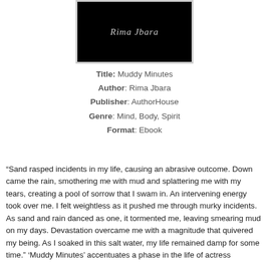[Figure (illustration): Black book cover with cursive text 'Rima Jbara' in grey/white lettering, bordered by a light grey frame]
Title: Muddy Minutes
Author: Rima Jbara
Publisher: AuthorHouse
Genre: Mind, Body, Spirit
Format: Ebook
“Sand rasped incidents in my life, causing an abrasive outcome. Down came the rain, smothering me with mud and splattering me with my tears, creating a pool of sorrow that I swam in. An intervening energy took over me. I felt weightless as it pushed me through murky incidents. As sand and rain danced as one, it tormented me, leaving smearing mud on my days. Devastation overcame me with a magnitude that quivered my being. As I soaked in this salt water, my life remained damp for some time.” ‘Muddy Minutes’ accentuates a phase in the life of actress